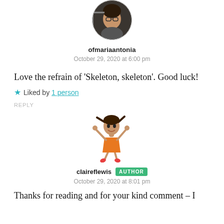[Figure (photo): Circular avatar photo of a person wearing glasses, looking through what appears to be a window]
ofmariaantonia
October 29, 2020 at 6:00 pm
Love the refrain of 'Skeleton, skeleton'. Good luck!
★ Liked by 1 person
REPLY
[Figure (illustration): Cartoon illustration of a cheerful girl in an orange dress with arms raised, appearing to dance or jump]
claireflewis AUTHOR
October 29, 2020 at 8:01 pm
Thanks for reading and for your kind comment – I